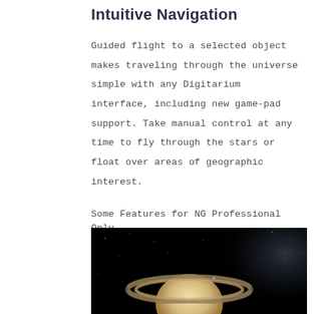Intuitive Navigation
Guided flight to a selected object makes traveling through the universe simple with any Digitarium interface, including new game-pad support. Take manual control at any time to fly through the stars or float over areas of geographic interest.
Some Features for NG Professional Only
[Figure (photo): Photograph of Saturn with its rings visible against a dark starry sky with a faint Milky Way glow on the right side of the image.]